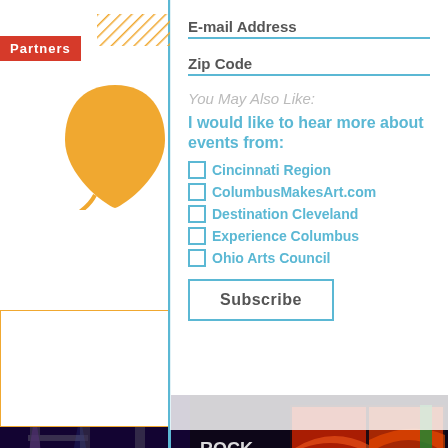Partners
E-mail Address
Zip Code
You May Also Like:
I would like to hear more about events from:
Cincinnati Region
ColumbusMakesArt.com
Destination Cleveland
Experience Columbus
Ohio Arts Council
Subscribe
[Figure (photo): Concert/event venue interior with stage lighting, trussing, video walls showing a concert crowd, colorful lights in purple, green, and blue. Text visible: ROCK ROLL]